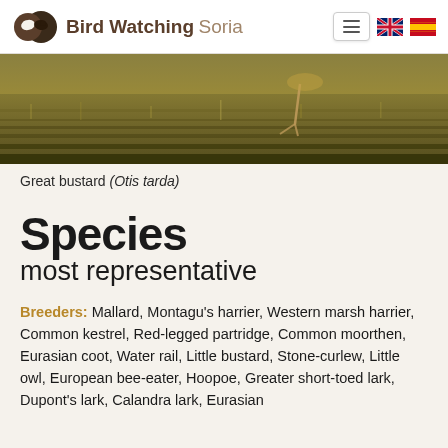Bird Watching Soria
[Figure (photo): Close-up photograph of a Great bustard in grass/vegetation, showing golden-brown grassland habitat]
Great bustard (Otis tarda)
Species most representative
Breeders: Mallard, Montagu's harrier, Western marsh harrier, Common kestrel, Red-legged partridge, Common moorthen, Eurasian coot, Water rail, Little bustard, Stone-curlew, Little owl, European bee-eater, Hoopoe, Greater short-toed lark, Dupont's lark, Calandra lark, Eurasian